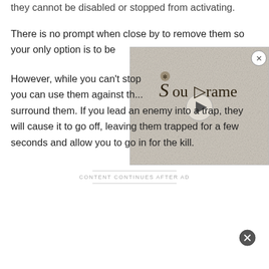they cannot be disabled or stopped from activating.
There is no prompt when close by to remove them so your only option is to be [...]
[Figure (screenshot): Soulframe game logo/advertisement overlay showing stylized text 'Soulframe' with decorative letter S and play button, on a stone/parchment textured background]
However, while you can't stop [...] you can use them against th[...] surround them. If you lead an enemy into a trap, they will cause it to go off, leaving them trapped for a few seconds and allow you to go in for the kill.
CONTENT CONTINUES AFTER AD